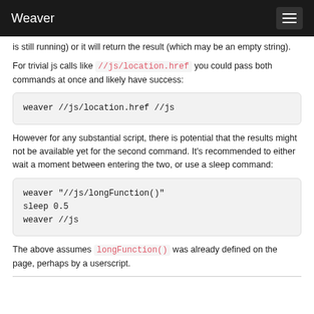Weaver
is still running) or it will return the result (which may be an empty string).
For trivial js calls like //js/location.href you could pass both commands at once and likely have success:
weaver //js/location.href //js
However for any substantial script, there is potential that the results might not be available yet for the second command. It's recommended to either wait a moment between entering the two, or use a sleep command:
weaver "//js/longFunction()"
sleep 0.5
weaver //js
The above assumes longFunction() was already defined on the page, perhaps by a userscript.